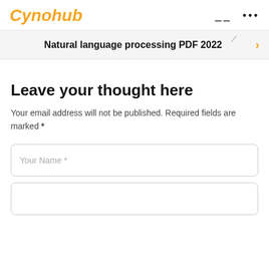Cynohub
Natural language processing PDF 2022
Leave your thought here
Your email address will not be published. Required fields are marked *
Your Name *